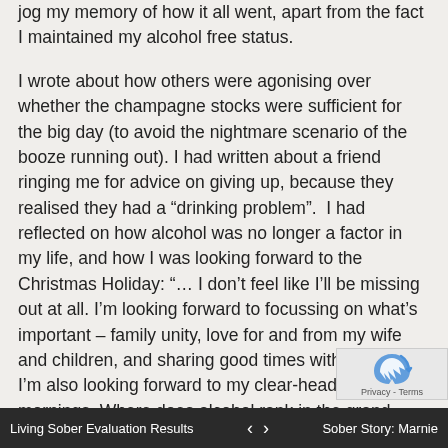jog my memory of how it all went, apart from the fact I maintained my alcohol free status.
I wrote about how others were agonising over whether the champagne stocks were sufficient for the big day (to avoid the nightmare scenario of the booze running out). I had written about a friend ringing me for advice on giving up, because they realised they had a “drinking problem”.  I had reflected on how alcohol was no longer a factor in my life, and how I was looking forward to the Christmas Holiday: “… I don’t feel like I’ll be missing out at all. I’m looking forward to focussing on what’s important – family unity, love for and from my wife and children, and sharing good times with friends. I’m also looking forward to my clear-headed mornings. Where does alcohol rank in the grand scheme of things? I’m happy to say it just doesn’t.”
I look back and am grateful I already had some sober form over the previous six months. I’d had plenty of practice socialising sober, during a
Living Sober Evaluation Results   ‹   ›   Sober Story: Marnie